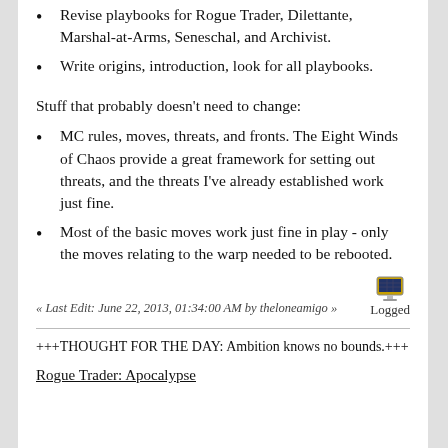Revise playbooks for Rogue Trader, Dilettante, Marshal-at-Arms, Seneschal, and Archivist.
Write origins, introduction, look for all playbooks.
Stuff that probably doesn't need to change:
MC rules, moves, threats, and fronts. The Eight Winds of Chaos provide a great framework for setting out threats, and the threats I've already established work just fine.
Most of the basic moves work just fine in play - only the moves relating to the warp needed to be rebooted.
« Last Edit: June 22, 2013, 01:34:00 AM by theloneamigo »
Logged
+++THOUGHT FOR THE DAY: Ambition knows no bounds.+++
Rogue Trader: Apocalypse